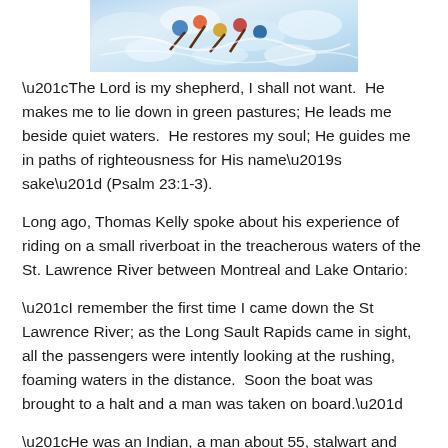[Figure (photo): Color photo of people whitewater rafting in turbulent rapids, viewed from above]
“The Lord is my shepherd, I shall not want.  He makes me to lie down in green pastures; He leads me beside quiet waters.  He restores my soul; He guides me in paths of righteousness for His name’s sake” (Psalm 23:1-3).
Long ago, Thomas Kelly spoke about his experience of riding on a small riverboat in the treacherous waters of the St. Lawrence River between Montreal and Lake Ontario:
“I remember the first time I came down the St Lawrence River; as the Long Sault Rapids came in sight, all the passengers were intently looking at the rushing, foaming waters in the distance.  Soon the boat was brought to a halt and a man was taken on board.”
“He was an Indian, a man about 55, stalwart and strong